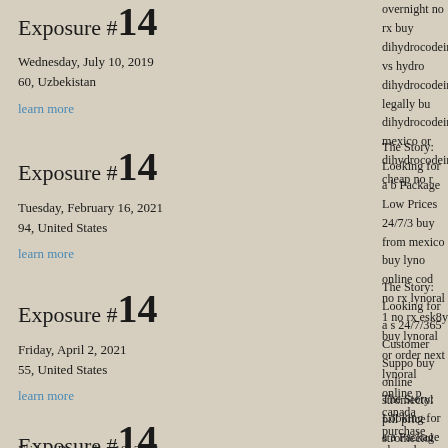Exposure #14
Wednesday, July 10, 2019
60, Uzbekistan
learn more
Exposure #14
Tuesday, February 16, 2021
94, United States
learn more
Exposure #14
Friday, April 2, 2021
55, United States
learn more
Exposure #14
Friday, December 10, 2021
overnight no rx buy dihydrocodeine vs hydrocodeine dihydrocodeine legally buy dihydrocodeine mexico order dihydrocodeine cheap no rx
The Story: Looking for a best Package Low Prices 24/7/365 buy from mexico buy lynoral online cod no rx lynoral 19 no rx esk8y buy lynoral online order next lynoral online pharmacy canada purchase cheap lynoral
The Story: Looking for a second 24/7/365 Customer Support buy online stromectol pill price stromectol generic m stromectol tab price strom cheapest discounted strom stromectol uk cod accepted
The Story: Looking for a a Package Low Prices 24/7/ generic aldara reviews can pharmacy for aldara buy a that sell aldara generic buy